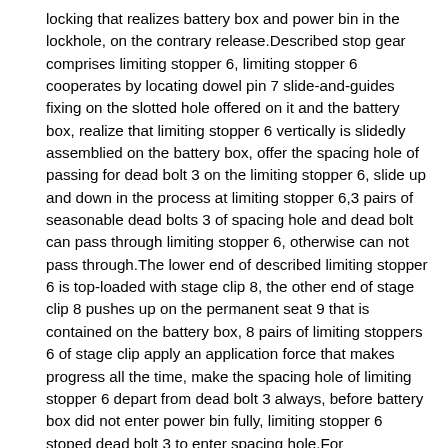locking that realizes battery box and power bin in the lockhole, on the contrary release.Described stop gear comprises limiting stopper 6, limiting stopper 6 cooperates by locating dowel pin 7 slide-and-guides fixing on the slotted hole offered on it and the battery box, realize that limiting stopper 6 vertically is slidedly assemblied on the battery box, offer the spacing hole of passing for dead bolt 3 on the limiting stopper 6, slide up and down in the process at limiting stopper 6,3 pairs of seasonable dead bolts 3 of spacing hole and dead bolt can pass through limiting stopper 6, otherwise can not pass through.The lower end of described limiting stopper 6 is top-loaded with stage clip 8, the other end of stage clip 8 pushes up on the permanent seat 9 that is contained on the battery box, 8 pairs of limiting stoppers 6 of stage clip apply an application force that makes progress all the time, make the spacing hole of limiting stopper 6 depart from dead bolt 3 always, before battery box did not enter power bin fully, limiting stopper 6 stoped dead bolt 3 to enter spacing hole.For conveniently when battery box enters power bin fully, dead bolt 3 can be by the spacing hole on the limiting stopper 6, the lower end of limiting stopper is connected with limiting cap 10, limiting cap 10 ones of dead bolt are used for dead bolt